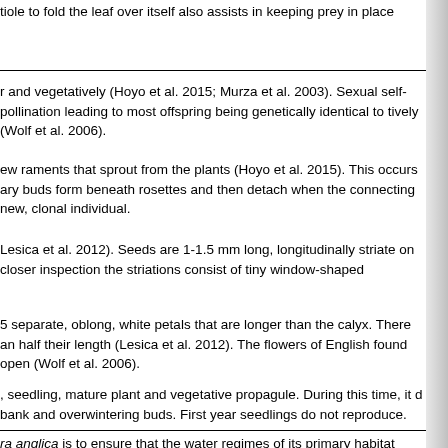tiole to fold the leaf over itself also assists in keeping prey in place
r and vegetatively (Hoyo et al. 2015; Murza et al. 2003). Sexual self-pollination leading to most offspring being genetically identical to tively (Wolf et al. 2006).
ew raments that sprout from the plants (Hoyo et al. 2015). This occurs ary buds form beneath rosettes and then detach when the connecting new, clonal individual.
Lesica et al. 2012). Seeds are 1-1.5 mm long, longitudinally striate on closer inspection the striations consist of tiny window-shaped
5 separate, oblong, white petals that are longer than the calyx. There an half their length (Lesica et al. 2012). The flowers of English found open (Wolf et al. 2006).
, seedling, mature plant and vegetative propagule. During this time, it d bank and overwintering buds. First year seedlings do not reproduce.
ra anglica is to ensure that the water regimes of its primary habitat